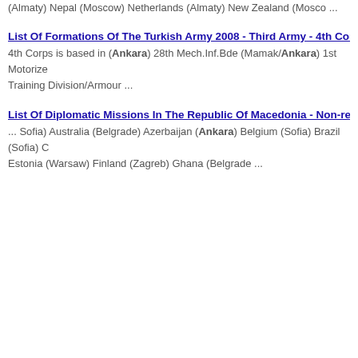(Almaty) Nepal (Moscow) Netherlands (Almaty) New Zealand (Mosco ...
List Of Formations Of The Turkish Army 2008 - Third Army - 4th Corps
4th Corps is based in (Ankara) 28th Mech.Inf.Bde (Mamak/Ankara) 1st Motorized Training Division/Armour ...
List Of Diplomatic Missions In The Republic Of Macedonia - Non-resident Em...
... Sofia) Australia (Belgrade) Azerbaijan (Ankara) Belgium (Sofia) Brazil (Sofia) C Estonia (Warsaw) Finland (Zagreb) Ghana (Belgrade ...